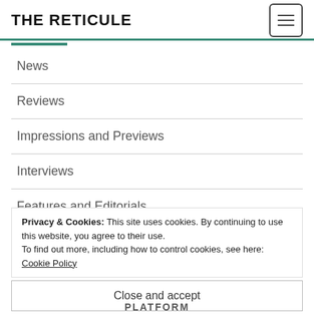THE RETICULE
News
Reviews
Impressions and Previews
Interviews
Features and Editorials
Boardgames
Privacy & Cookies: This site uses cookies. By continuing to use this website, you agree to their use.
To find out more, including how to control cookies, see here: Cookie Policy
Close and accept
PLATFORM